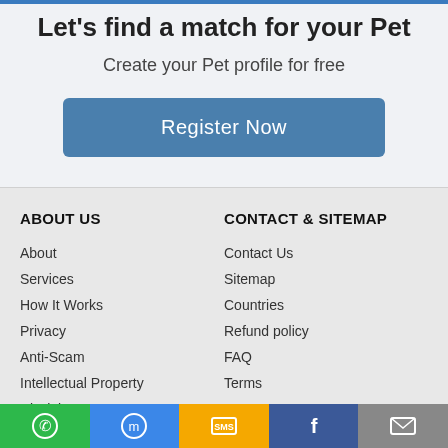Let's find a match for your Pet
Create your Pet profile for free
Register Now
ABOUT US
CONTACT & SITEMAP
About
Services
How It Works
Privacy
Anti-Scam
Intellectual Property
Disclaimer
Contact Us
Sitemap
Countries
Refund policy
FAQ
Terms
Contact Support
WhatsApp | Messenger | SMS | Facebook | Email